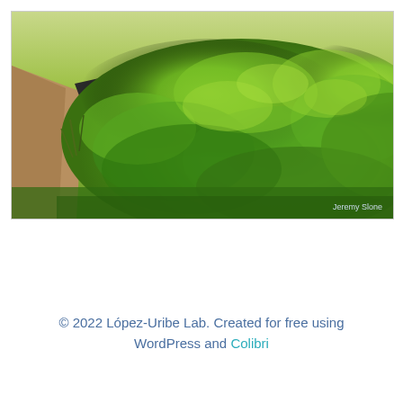[Figure (photo): Rows of strawberry plants growing in a farm field with black plastic mulch and a dirt path on the left side. Photo credit: Jeremy Slone.]
© 2022 López-Uribe Lab. Created for free using WordPress and Colibri